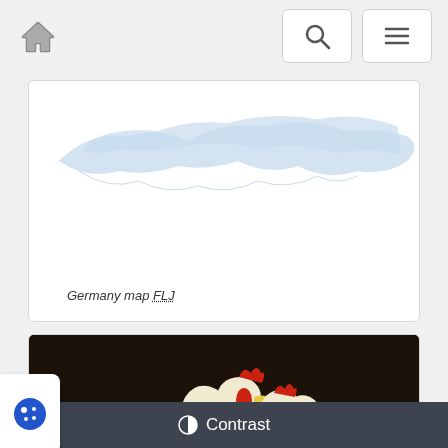Navigation bar with home icon, search button, and menu button
[Figure (map): Light blue silhouette map of Germany on a white background]
Germany map FLJ
[Figure (photo): Two white chickens/broilers on perches against a dark background]
Contrast